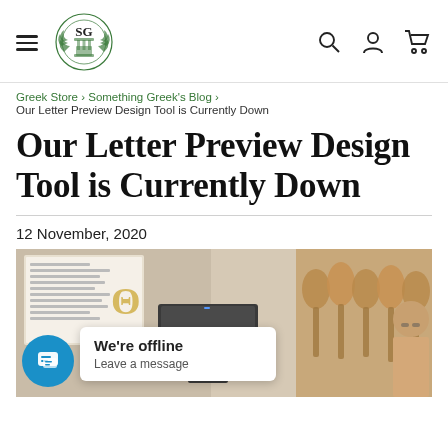SG [logo] | navigation icons: search, account, cart
Greek Store › Something Greek's Blog ›
Our Letter Preview Design Tool is Currently Down
Our Letter Preview Design Tool is Currently Down
12 November, 2020
[Figure (photo): Photo of a store interior showing display boards with Greek letter merchandise, a computer monitor, and a person. Overlaid with a chat widget showing 'We're offline / Leave a message'.]